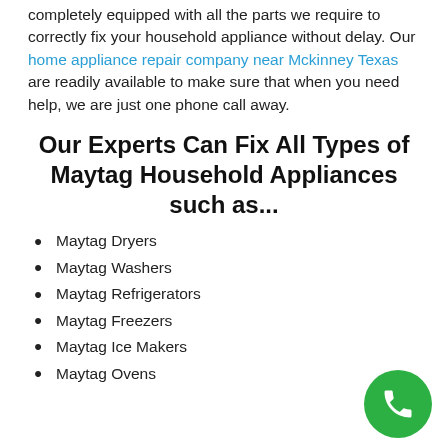completely equipped with all the parts we require to correctly fix your household appliance without delay. Our home appliance repair company near Mckinney Texas are readily available to make sure that when you need help, we are just one phone call away.
Our Experts Can Fix All Types of Maytag Household Appliances such as...
Maytag Dryers
Maytag Washers
Maytag Refrigerators
Maytag Freezers
Maytag Ice Makers
Maytag Ovens
[Figure (illustration): Green circular phone call button icon in bottom-right corner]